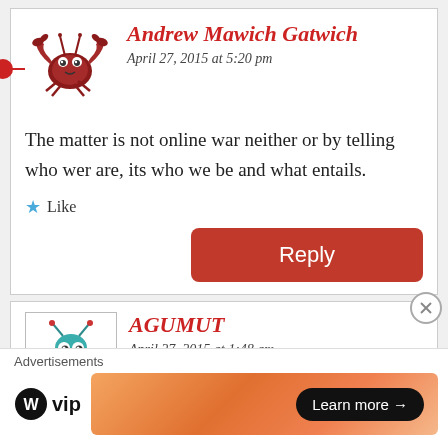[Figure (illustration): Cartoon crab avatar in red/brown color with claws raised]
Andrew Mawich Gatwich
April 27, 2015 at 5:20 pm
The matter is not online war neither or by telling who wer are, its who we be and what entails.
Like
Reply
[Figure (illustration): Cartoon teal/green frog-like avatar with horns]
AGUMUT
April 27, 2015 at 1:48 am
Advertisements
[Figure (logo): WordPress VIP logo]
[Figure (illustration): Orange gradient advertisement banner with Learn more button]